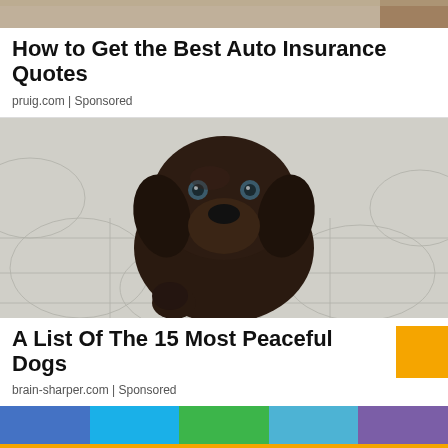[Figure (photo): Partial top photo strip showing what appears to be a sandy or warm-toned background, cropped.]
How to Get the Best Auto Insurance Quotes
pruig.com | Sponsored
[Figure (photo): A chocolate Labrador puppy looking up at the camera, sitting on a patterned tile floor.]
A List Of The 15 Most Peaceful Dogs
brain-sharper.com | Sponsored
[Figure (infographic): Bottom social share bar with five colored segments: blue, cyan, green, steel blue, purple, and an orange strip at the very bottom.]